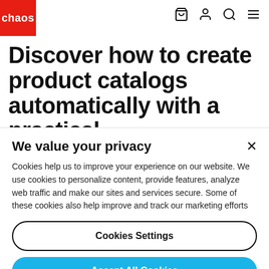chaos (logo) — navigation icons: cart, user, search, menu
Discover how to create product catalogs automatically with a practical
We value your privacy
Cookies help us to improve your experience on our website. We use cookies to personalize content, provide features, analyze web traffic and make our sites and services secure. Some of these cookies also help improve and track our marketing efforts
Cookies Settings
Accept All Cookies